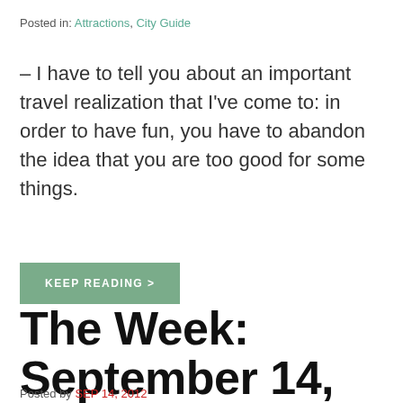Posted in: Attractions, City Guide
– I have to tell you about an important travel realization that I've come to: in order to have fun, you have to abandon the idea that you are too good for some things.
KEEP READING >
The Week: September 14, 2012
Posted by SEP 14, 2012